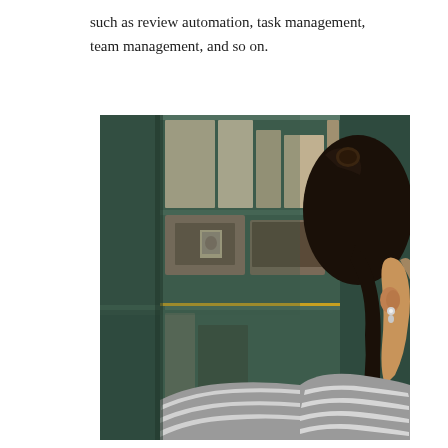such as review automation, task management, team management, and so on.
[Figure (photo): A woman with dark hair in a ponytail, wearing a striped grey and white sweater, viewed from behind/side profile, sitting in front of green shelving unit with books and items on the shelves.]